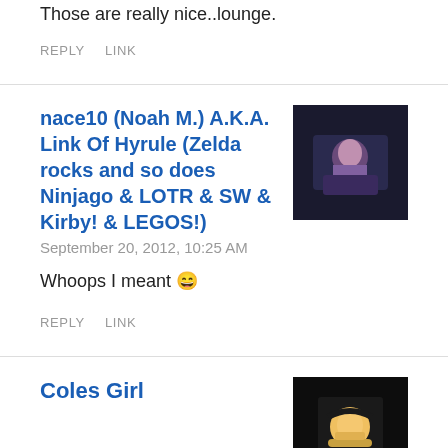Those are really nice..lounge.
REPLY    LINK
nace10 (Noah M.) A.K.A. Link Of Hyrule (Zelda rocks and so does Ninjago & LOTR & SW & Kirby! & LEGOS!)
September 20, 2012, 10:25 AM
Whoops I meant 😄
REPLY    LINK
Coles Girl
September 20, 2012, 11:37 AM